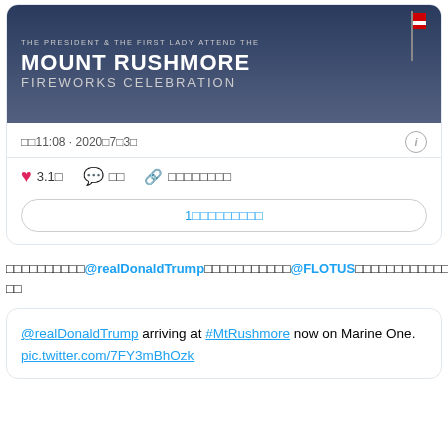[Figure (screenshot): Tweet card showing Mount Rushmore Fireworks Celebration event image with dark background, American flag, timestamp, likes, comments, and copy link actions]
□□□□□□□□□□@realDonaldTrump□□□□□□□□□□□@FLOTUS□□□□□□□□□□□□□□□□□□□□□□
@realDonaldTrump arriving at #MtRushmore now on Marine One. pic.twitter.com/7FY3mBhOzk